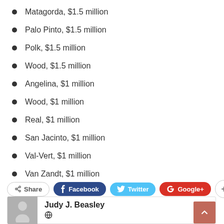Matagorda, $1.5 million
Palo Pinto, $1.5 million
Polk, $1.5 million
Wood, $1.5 million
Angelina, $1 million
Wood, $1 million
Real, $1 million
San Jacinto, $1 million
Val-Vert, $1 million
Van Zandt, $1 million
[Figure (infographic): Social share buttons: Share, Facebook, Twitter, Google+, and a plus button]
[Figure (infographic): Author card with avatar silhouette and name Judy J. Beasley with a globe icon, and a scroll-to-top button]